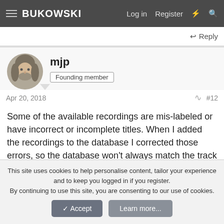BUKOWSKI  Log in  Register
Reply
mjp
Founding member
Apr 20, 2018  #12
Some of the available recordings are mis-labeled or have incorrect or incomplete titles. When I added the recordings to the database I corrected those errors, so the database won't always match the track listings on things.
Bukfan said:
This site uses cookies to help personalise content, tailor your experience and to keep you logged in if you register.
By continuing to use this site, you are consenting to our use of cookies.
Accept  Learn more...